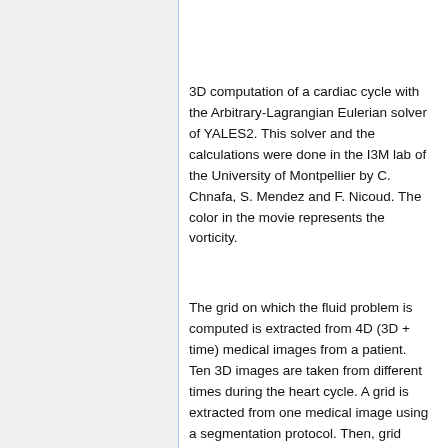[Figure (other): Partial image or figure visible at top of right panel (cropped)]
3D computation of a cardiac cycle with the Arbitrary-Lagrangian Eulerian solver of YALES2. This solver and the calculations were done in the I3M lab of the University of Montpellier by C. Chnafa, S. Mendez and F. Nicoud. The color in the movie represents the vorticity.
The grid on which the fluid problem is computed is extracted from 4D (3D + time) medical images from a patient. Ten 3D images are taken from different times during the heart cycle. A grid is extracted from one medical image using a segmentation protocol. Then, grid deformations are computed from the combination of an image registration algorithm and of interpolations process